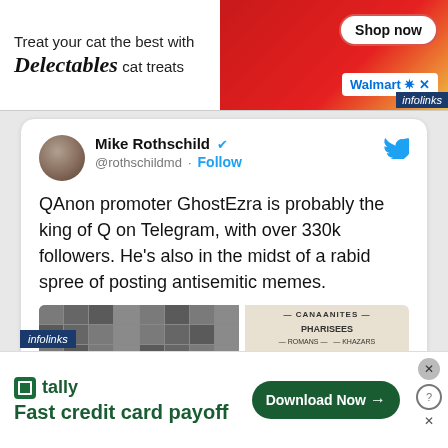[Figure (screenshot): Advertisement banner for Delectables cat treats featuring a cat image and Walmart Shop Now button]
[Figure (screenshot): Twitter/X post by Mike Rothschild (@rothschildmd) about QAnon promoter GhostEzra with tweet images]
[Figure (screenshot): Advertisement for Tally fast credit card payoff app with Download Now button]